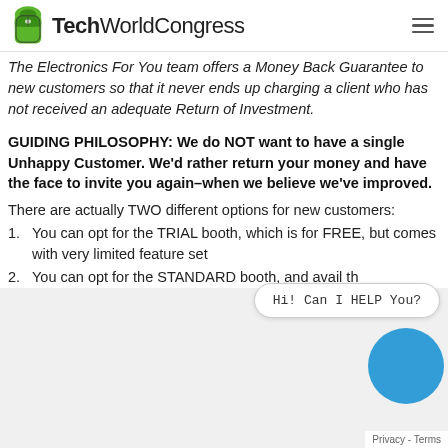TechWorldCongress
The Electronics For You team offers a Money Back Guarantee to new customers so that it never ends up charging a client who has not received an adequate Return of Investment.
GUIDING PHILOSOPHY: We do NOT want to have a single Unhappy Customer. We'd rather return your money and have the face to invite you again–when we believe we've improved.
There are actually TWO different options for new customers:
You can opt for the TRIAL booth, which is for FREE, but comes with very limited feature set
You can opt for the STANDARD booth, and avail th…